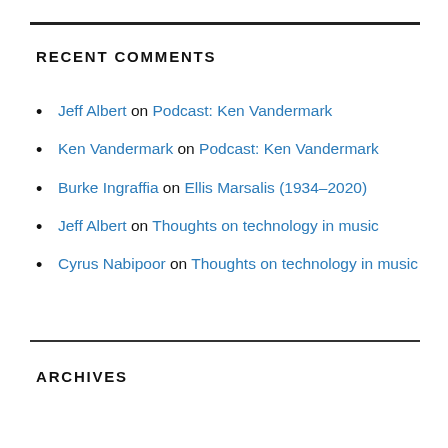RECENT COMMENTS
Jeff Albert on Podcast: Ken Vandermark
Ken Vandermark on Podcast: Ken Vandermark
Burke Ingraffia on Ellis Marsalis (1934–2020)
Jeff Albert on Thoughts on technology in music
Cyrus Nabipoor on Thoughts on technology in music
ARCHIVES